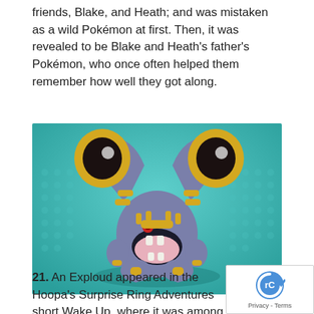friends, Blake, and Heath; and was mistaken as a wild Pokémon at first. Then, it was revealed to be Blake and Heath's father's Pokémon, who once often helped them remember how well they got along.
[Figure (illustration): Illustration of a Pokémon (Exploud) — a large blue-grey creature with big yellow horn-like tubes on its head, a wide open mouth showing fangs and a pink interior, red eyes, and multiple gold-banded appendages, set against a teal/aqua dotted background with a light oval shadow beneath it.]
21. An Exploud appeared in the Hoopa's Surprise Ring Adventures short Wake Up, where it was among the Pokémon summoned by Hoopa to use their sound-based